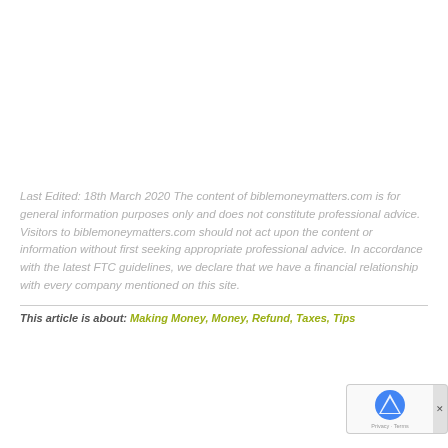Last Edited: 18th March 2020 The content of biblemoneymatters.com is for general information purposes only and does not constitute professional advice. Visitors to biblemoneymatters.com should not act upon the content or information without first seeking appropriate professional advice. In accordance with the latest FTC guidelines, we declare that we have a financial relationship with every company mentioned on this site.
This article is about: Making Money, Money, Refund, Taxes, Tips